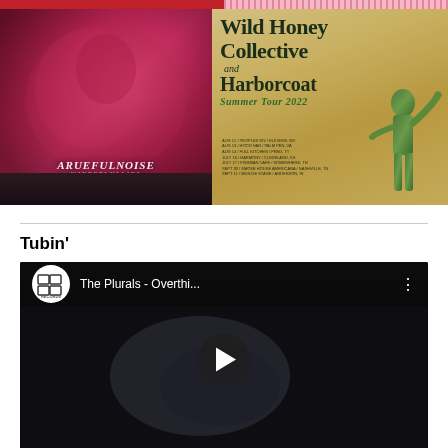[Figure (photo): Top strip: left side red/crimson color strip, right side pink dotted pattern strip]
[Figure (photo): Pink/magenta vinyl record album cover for 'A Rueful Noise' with decorative text and artwork, sitting on guitar pedals]
[Figure (photo): Concert tour poster for 'Wild Honey Collective and Harborcoat Summer Tour 2022' with aged parchment background and green statue figure, listing tour dates]
Tubin'
[Figure (screenshot): YouTube video embed showing 'The Plurals - Overthi...' video with GT Records logo, dark video frame with play button visible]